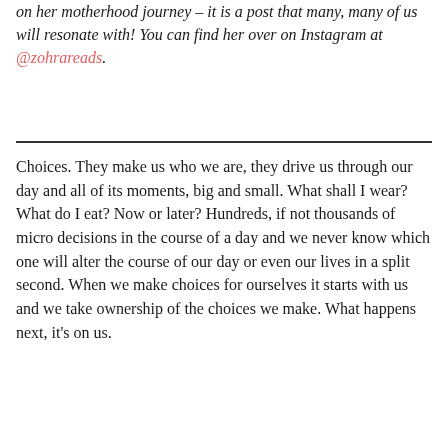on her motherhood journey – it is a post that many, many of us will resonate with! You can find her over on Instagram at @zohrareads.
Choices. They make us who we are, they drive us through our day and all of its moments, big and small. What shall I wear? What do I eat? Now or later? Hundreds, if not thousands of micro decisions in the course of a day and we never know which one will alter the course of our day or even our lives in a split second. When we make choices for ourselves it starts with us and we take ownership of the choices we make. What happens next, it's on us.